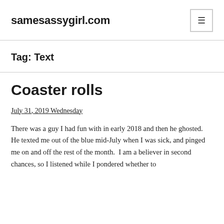samesassygirl.com
Tag: Text
Coaster rolls
July 31, 2019 Wednesday
There was a guy I had fun with in early 2018 and then he ghosted.  He texted me out of the blue mid-July when I was sick, and pinged me on and off the rest of the month.  I am a believer in second chances, so I listened while I pondered whether to